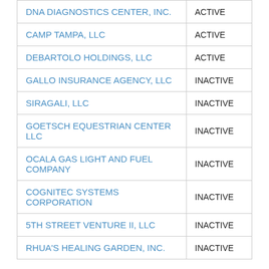| Name | Status |
| --- | --- |
| DNA DIAGNOSTICS CENTER, INC. | ACTIVE |
| CAMP TAMPA, LLC | ACTIVE |
| DEBARTOLO HOLDINGS, LLC | ACTIVE |
| GALLO INSURANCE AGENCY, LLC | INACTIVE |
| SIRAGALI, LLC | INACTIVE |
| GOETSCH EQUESTRIAN CENTER LLC | INACTIVE |
| OCALA GAS LIGHT AND FUEL COMPANY | INACTIVE |
| COGNITEC SYSTEMS CORPORATION | INACTIVE |
| 5TH STREET VENTURE II, LLC | INACTIVE |
| RHUA'S HEALING GARDEN, INC. | INACTIVE |
Nearby Businesses
| Name | Status |
| --- | --- |